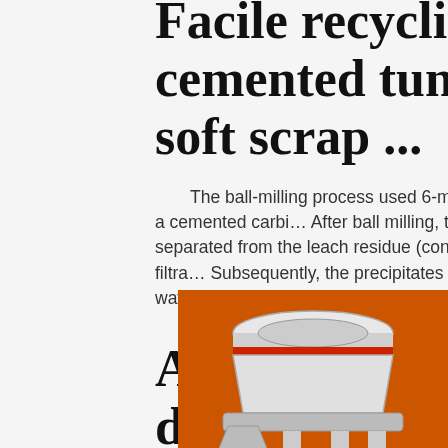Facile recycling of cemented tungsten carbide soft scrap ...
The ball-milling process used 6-mm diameter cemented carbide balls and a cemented carbi... After ball milling, the leachate (containing the Co salt) was separated from the leach residue (containing the WC particles) by vacuum filtra... Subsequently, the precipitates were washed s... times with deionized water until the pH ...
A study of CVD diamond deposition on cemented carb...
2015-10-1 · In order to investigate the cutting performance of as-fabricated diamond coated ball-end
[Figure (illustration): Advertisement panel with orange background showing industrial machinery (VSI crusher, mobile jaw crusher, vertical mill), a yellow 'Enjoy 3% discount' bar, an orange 'Click to Chat' bar with strikethrough styling, an Enquiry section, and email address limingjlmofen@sina.com]